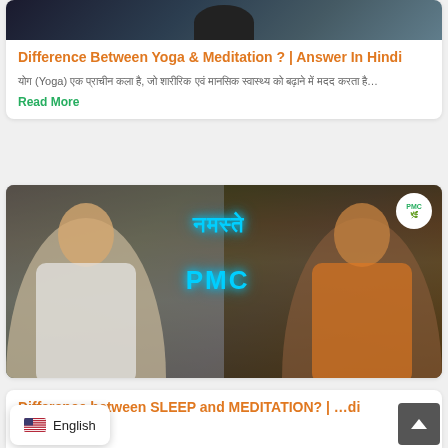[Figure (photo): Top portion of a person in dark clothing against a dark background, cropped at top of card]
Difference Between Yoga & Meditation ? | Answer In Hindi
योग (Yoga) एक प्राचीन कला है, जो शारीरिक एवं मानसिक स्वास्थ्य को बढ़ाने में मदद करता है…
Read More
[Figure (photo): Thumbnail image showing two people meditating — a woman on the left with eyes closed in a white shirt, and a man on the right in an orange shirt sitting cross-legged. Text overlay reads 'नमस्ते PMC' in cyan neon style with PMC logo in top right corner.]
Difference between SLEEP and MEDITATION? | ...di